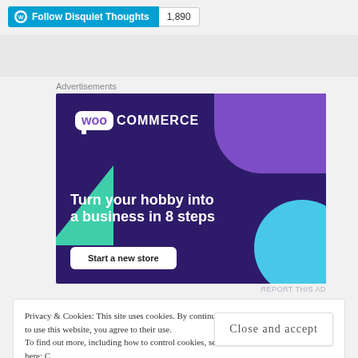[Figure (screenshot): WordPress Follow button for 'Disquiet Thoughts' blog with follower count 1,890]
Advertisements
[Figure (illustration): WooCommerce advertisement: 'Turn your hobby into a business in 8 steps' with 'Start a new store' button on dark purple background with teal and blue decorative shapes]
REPORT THIS AD
Privacy & Cookies: This site uses cookies. By continuing to use this website, you agree to their use.
To find out more, including how to control cookies, see here: C
Close and accept